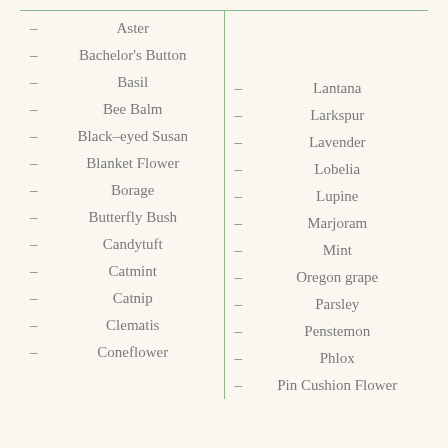Aster
Bachelor's Button
Basil
Bee Balm
Black–eyed Susan
Blanket Flower
Borage
Butterfly Bush
Candytuft
Catmint
Catnip
Clematis
Coneflower
Lantana
Larkspur
Lavender
Lobelia
Lupine
Marjoram
Mint
Oregon grape
Parsley
Penstemon
Phlox
Pin Cushion Flower